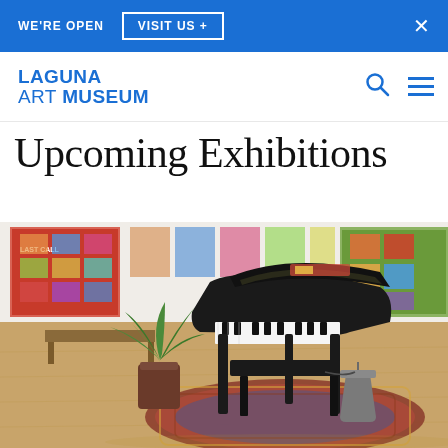WE'RE OPEN   VISIT US +   ×
LAGUNA ART MUSEUM
Upcoming Exhibitions
[Figure (photo): Interior of Laguna Art Museum gallery showing a black grand piano on a patterned rug, with a large potted palm plant beside it, a wooden bench in the background, and colorful artworks on the walls.]